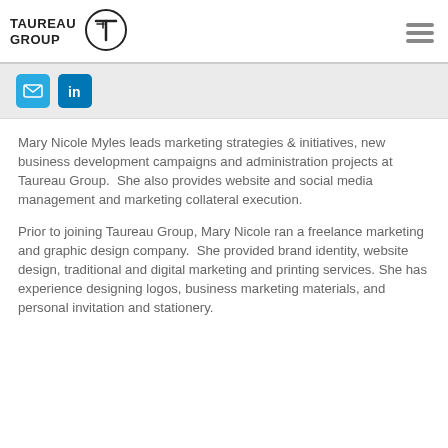TAUREAU GROUP
[Figure (logo): Taureau Group circular logo with stylized T mark]
[Figure (infographic): Email and LinkedIn social media icon buttons]
Mary Nicole Myles leads marketing strategies & initiatives, new business development campaigns and administration projects at Taureau Group.  She also provides website and social media management and marketing collateral execution.
Prior to joining Taureau Group, Mary Nicole ran a freelance marketing and graphic design company.  She provided brand identity, website design, traditional and digital marketing and printing services. She has experience designing logos, business marketing materials, and personal invitation and stationery.